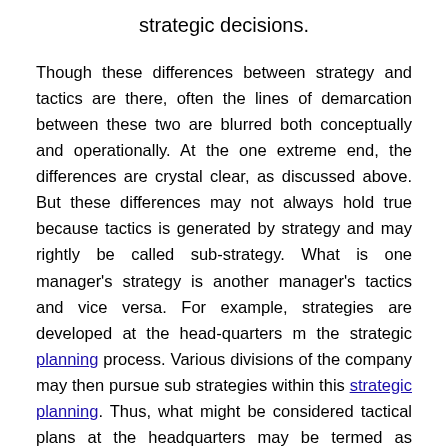strategic decisions.
Though these differences between strategy and tactics are there, often the lines of demarcation between these two are blurred both conceptually and operationally. At the one extreme end, the differences are crystal clear, as discussed above. But these differences may not always hold true because tactics is generated by strategy and may rightly be called sub-strategy. What is one manager's strategy is another manager's tactics and vice versa. For example, strategies are developed at the head-quarters m the strategic planning process. Various divisions of the company may then pursue sub strategies within this strategic planning. Thus, what might be considered tactical plans at the headquarters may be termed as strategy at the divisional levels. Thus, depending on the level of the organization, an action may be strategic or tactical.